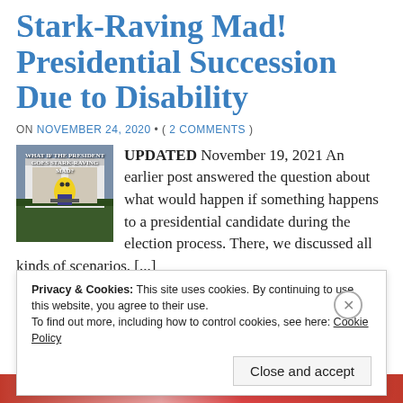Stark-Raving Mad! Presidential Succession Due to Disability
ON NOVEMBER 24, 2020 • ( 2 COMMENTS )
[Figure (photo): Photo of the White House with a cartoon minion character at a podium, with overlaid text about the president going stark-raving mad]
UPDATED November 19, 2021 An earlier post answered the question about what would happen if something happens to a presidential candidate during the election process. There, we discussed all kinds of scenarios. [...]
Privacy & Cookies: This site uses cookies. By continuing to use this website, you agree to their use.
To find out more, including how to control cookies, see here: Cookie Policy
Close and accept